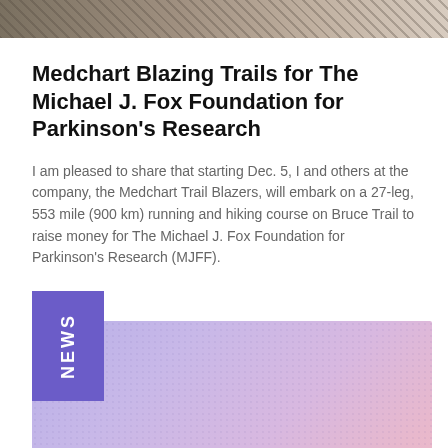[Figure (photo): Outdoor nature/trail photo banner at top of page]
Medchart Blazing Trails for The Michael J. Fox Foundation for Parkinson's Research
I am pleased to share that starting Dec. 5, I and others at the company, the Medchart Trail Blazers, will embark on a 27-leg, 553 mile (900 km) running and hiking course on Bruce Trail to raise money for The Michael J. Fox Foundation for Parkinson's Research (MJFF).
[Figure (infographic): NEWS label badge (purple rectangle with vertical white text reading NEWS) overlapping a gradient background panel in purple-to-pink tones]